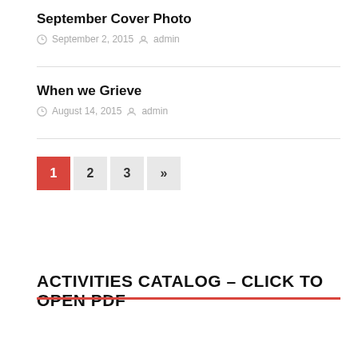September Cover Photo
September 2, 2015   admin
When we Grieve
August 14, 2015   admin
1 2 3 »
ACTIVITIES CATALOG – CLICK TO OPEN PDF